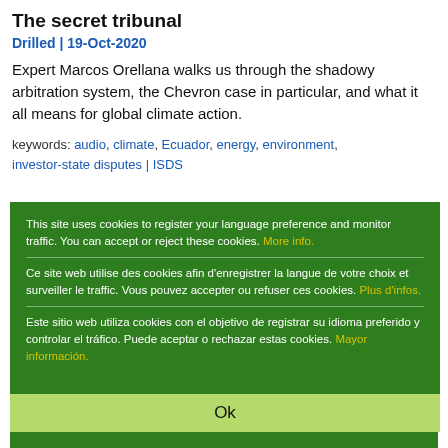The secret tribunal
Drilled | 19-Oct-2020
Expert Marcos Orellana walks us through the shadowy arbitration system, the Chevron case in particular, and what it all means for global climate action.
keywords: audio, climate, Ecuador, energy, environment, investor-state disputes | ISDS
[Figure (screenshot): Cookie consent modal overlay on a green background. Contains three language blocks (English, French, Spanish) with 'More info', 'Plus d’infos', and 'Mayor información' links in yellow. An 'Ok' button bar at the bottom in yellow-green.]
Key international legal measures risk making the cost of green energy shift skyrocket
IIED | 5-Oct-2020
A complex set of international legal measures protecting the fossil fuel industry risks significantly increasing the cost of moving to green energy and tackling climate